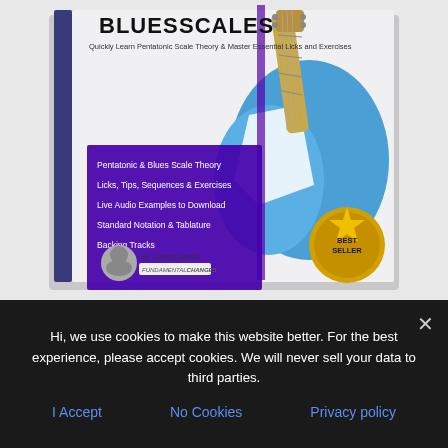[Figure (illustration): Book cover of 'Blues Scales' by Joseph Alexander showing a blue electric guitar (Stratocaster style) against a purple/blue background. The cover displays the title 'BLUES SCALES' at the top with subtitle 'Quickly Learn Pentatonic Scale Theory & Master Essential Licks and Exercises'. A purple box lists contents: Pentatonic & Blues Scale Theory, Licks, Tips, Sequences & Exercises, Live Audio Examples to Download, Standard Notation & Tablature, Backing Tracks. Bottom shows author photo and 'BEST SELLER' badge.]
Hi, we use cookies to make this website better. For the best experience, please accept cookies. We will never sell your data to third parties.
I Accept
No Cookies
Privacy policy